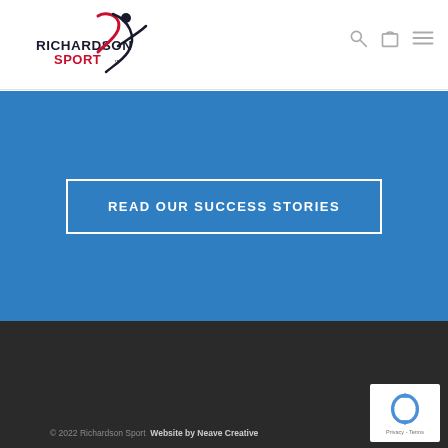[Figure (logo): Richardson Sport logo with stylized red heart and gymnast figure in dark navy and red colors]
[Figure (infographic): Navigation icons: search (magnifying glass), shopping bag, and hamburger menu in gray]
READ OUR SUCCESS STORIES
© 2022 Richardson Sport  Website by Neave Creative  Privacy - Terms